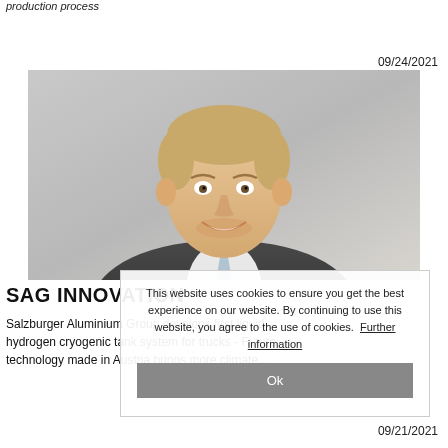production process
09/24/2021
[Figure (photo): Professional headshot of a young man in a dark suit with a light blue tie, smiling, against a grey background.]
SAG INNOVATION
Salzburger Aluminium Group develops first liquid hydrogen cryogenic tank system for trucks - Future technology made in Austria brings more climate...
This website uses cookies to ensure you get the best experience on our website. By continuing to use this website, you agree to the use of cookies. Further information
Ok
09/21/2021